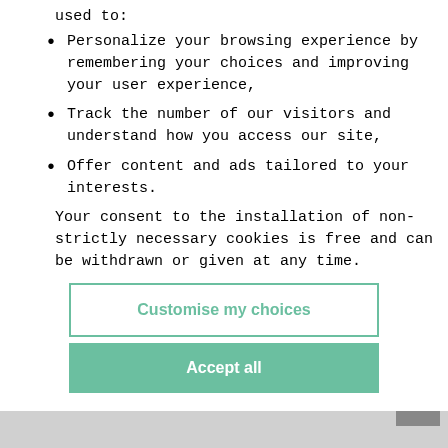used to:
Personalize your browsing experience by remembering your choices and improving your user experience,
Track the number of our visitors and understand how you access our site,
Offer content and ads tailored to your interests.
Your consent to the installation of non-strictly necessary cookies is free and can be withdrawn or given at any time.
Customise my choices
Accept all
269
PAIR OF LOUIS XVI...
Pair of Louis XVI style fluted half-columns in white...
80 – 120 EUR
Result 485 EUR
Result with fees